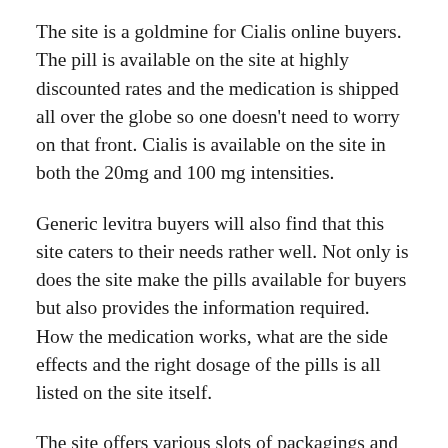The site is a goldmine for Cialis online buyers. The pill is available on the site at highly discounted rates and the medication is shipped all over the globe so one doesn't need to worry on that front. Cialis is available on the site in both the 20mg and 100 mg intensities.
Generic levitra buyers will also find that this site caters to their needs rather well. Not only is does the site make the pills available for buyers but also provides the information required. How the medication works, what are the side effects and the right dosage of the pills is all listed on the site itself.
The site offers various slots of packagings and one can choose to order in lots of 10 to 50. These Viagra like pills have indeed created a huge wave and helped many men overcome their ED at much lower cost. So if looking to buy generic Viagra online do